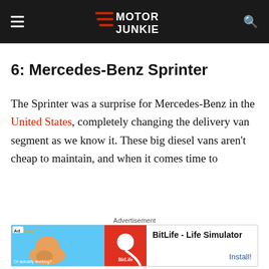Motor Junkie
6: Mercedes-Benz Sprinter
The Sprinter was a surprise for Mercedes-Benz in the United States, completely changing the delivery van segment as we know it. These big diesel vans aren't cheap to maintain, and when it comes time to
Advertisement
[Figure (other): BitLife - Life Simulator advertisement banner with Ad badge, animated character graphic on blue background, red BitLife logo panel, app name and Install button]